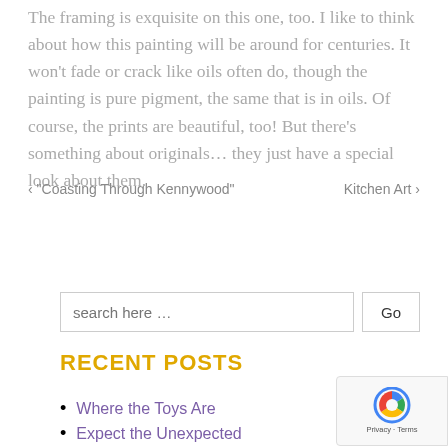The framing is exquisite on this one, too. I like to think about how this painting will be around for centuries. It won't fade or crack like oils often do, though the painting is pure pigment, the same that is in oils. Of course, the prints are beautiful, too! But there's something about originals… they just have a special look about them.
‹ "Coasting Through Kennywood"    Kitchen Art ›
search here …
RECENT POSTS
Where the Toys Are
Expect the Unexpected
Homeward Bound!